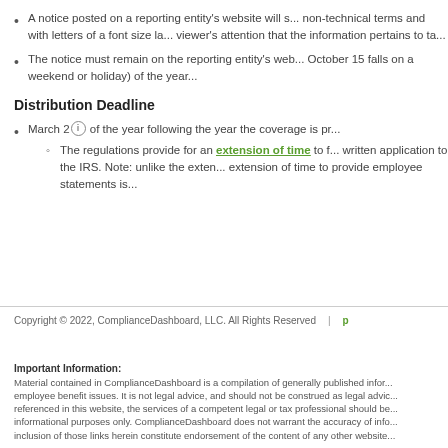A notice posted on a reporting entity's website will s... non-technical terms and with letters of a font size la... viewer's attention that the information pertains to ta...
The notice must remain on the reporting entity's web... October 15 falls on a weekend or holiday) of the year...
Distribution Deadline
March 2 (info icon) of the year following the year the coverage is pr...
The regulations provide for an extension of time to f... written application to the IRS. Note: unlike the exten... extension of time to provide employee statements is...
Copyright © 2022, ComplianceDashboard, LLC. All Rights Reserved | p...
Important Information: Material contained in ComplianceDashboard is a compilation of generally published infor... employee benefit issues. It is not legal advice, and should not be construed as legal advic... referenced in this website, the services of a competent legal or tax professional should be... informational purposes only. ComplianceDashboard does not warrant the accuracy of info... inclusion of those links herein constitute endorsement of the content of any other website...